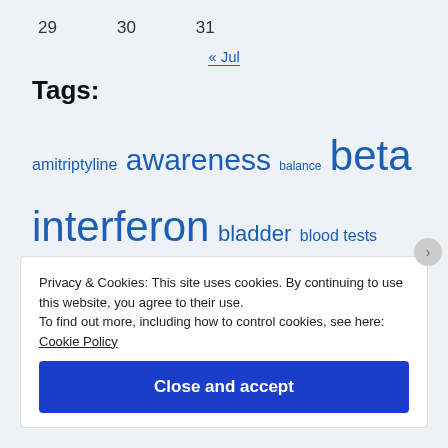29   30   31
« Jul
Tags:
amitriptyline awareness balance beta interferon bladder blood tests calcium catheter codeine cognitive problems copaxone COVID CT scan depression diagnosis DMDs doublevision DVLA exercise eyes family Fampridine
Privacy & Cookies: This site uses cookies. By continuing to use this website, you agree to their use. To find out more, including how to control cookies, see here: Cookie Policy
Close and accept